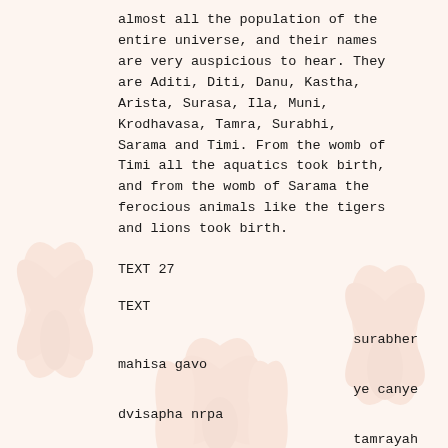almost all the population of the entire universe, and their names are very auspicious to hear. They are Aditi, Diti, Danu, Kastha, Arista, Surasa, Ila, Muni, Krodhavasa, Tamra, Surabhi, Sarama and Timi. From the womb of Timi all the aquatics took birth, and from the womb of Sarama the ferocious animals like the tigers and lions took birth.
TEXT 27
TEXT
surabher
mahisa gavo
ye canye
dvisapha nrpa
tamrayah
syena-grdhradya
muner
apsarasam ganah
SYNONYMS